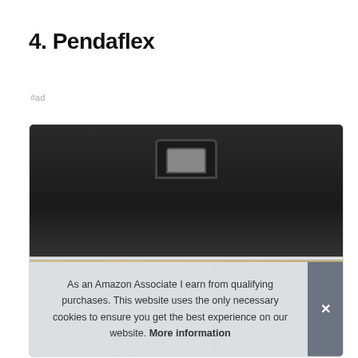4. Pendaflex
#ad
[Figure (photo): A Pendaflex black portable file box with a handle on top and yellow/tan hanging file folders visible on the sides.]
As an Amazon Associate I earn from qualifying purchases. This website uses the only necessary cookies to ensure you get the best experience on our website. More information